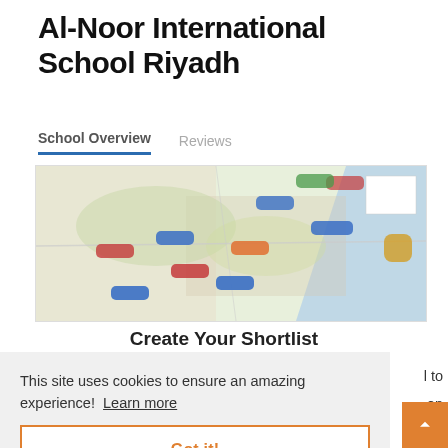Al-Noor International School Riyadh
School Overview   Reviews
[Figure (map): Blurred map showing geographic area with colored markers (blue, red, orange, green) indicating school locations]
Create Your Shortlist
This site uses cookies to ensure an amazing experience!  Learn more
Got it!